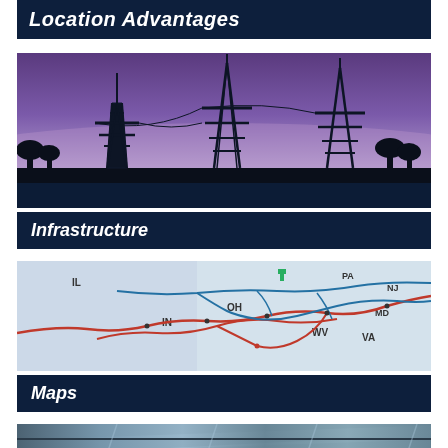Location Advantages
[Figure (photo): Silhouette of electrical transmission towers/pylons against a purple and blue dusk sky]
Infrastructure
[Figure (map): Regional railroad/transit map showing routes across states including IL, IN, OH, WV, VA, PA, MD, NJ with red and blue lines]
Maps
[Figure (photo): Close-up of metal industrial or architectural components, bluish toned]